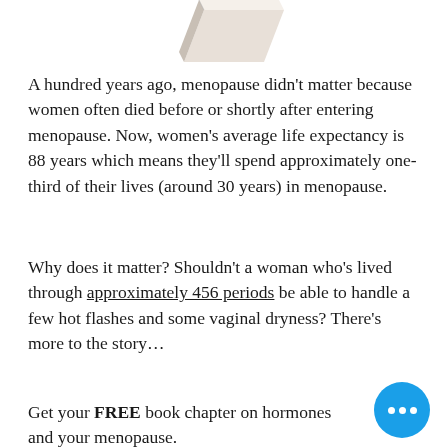[Figure (photo): Partial image of a book at the top of the page, showing the spine/corner of a book]
A hundred years ago, menopause didn't matter because women often died before or shortly after entering menopause. Now, women's average life expectancy is 88 years which means they'll spend approximately one-third of their lives (around 30 years) in menopause.
Why does it matter? Shouldn't a woman who's lived through approximately 456 periods be able to handle a few hot flashes and some vaginal dryness? There's more to the story…
Get your FREE book chapter on hormones and your menopause.